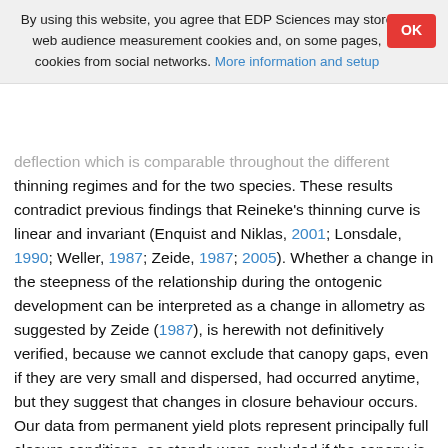By using this website, you agree that EDP Sciences may store web audience measurement cookies and, on some pages, cookies from social networks. More information and setup
OK
deflection which is comparable throughout the different thinning regimes and for the two species. These results contradict previous findings that Reineke’s thinning curve is linear and invariant (Enquist and Niklas, 2001; Lonsdale, 1990; Weller, 1987; Zeide, 1987; 2005). Whether a change in the steepness of the relationship during the ontogenic development can be interpreted as a change in allometry as suggested by Zeide (1987), is herewith not definitively verified, because we cannot exclude that canopy gaps, even if they are very small and dispersed, had occurred anytime, but they suggest that changes in closure behaviour occurs. Our data from permanent yield plots represent principally full closure conditions, as stands were excluded if the canopy is interrupted. The same applies to the one-time plots, selected after carefully verification of their representativeness and